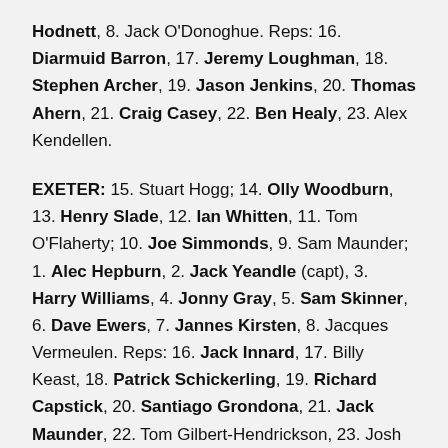Hodnett, 8. Jack O'Donoghue. Reps: 16. Diarmuid Barron, 17. Jeremy Loughman, 18. Stephen Archer, 19. Jason Jenkins, 20. Thomas Ahern, 21. Craig Casey, 22. Ben Healy, 23. Alex Kendellen.
EXETER: 15. Stuart Hogg; 14. Olly Woodburn, 13. Henry Slade, 12. Ian Whitten, 11. Tom O'Flaherty; 10. Joe Simmonds, 9. Sam Maunder; 1. Alec Hepburn, 2. Jack Yeandle (capt), 3. Harry Williams, 4. Jonny Gray, 5. Sam Skinner, 6. Dave Ewers, 7. Jannes Kirsten, 8. Jacques Vermeulen. Reps: 16. Jack Innard, 17. Billy Keast, 18. Patrick Schickerling, 19. Richard Capstick, 20. Santiago Grondona, 21. Jack Maunder, 22. Tom Gilbert-Hendrickson, 23. Josh Hodge.